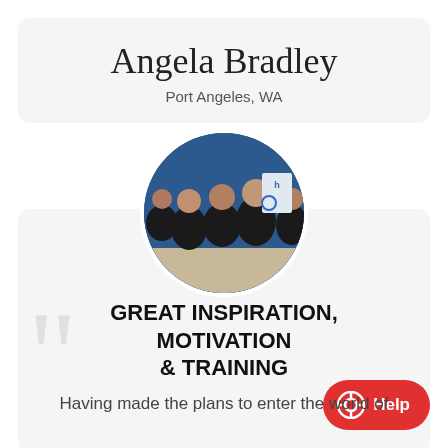Angela Bradley
Port Angeles, WA
[Figure (photo): Circular profile photo showing a group of five people in black scrubs standing together in front of a blue wall with a logo/sign. Medical or dental office staff.]
GREAT INSPIRATION, MOTIVATION & TRAINING
Having made the plans to enter the world of